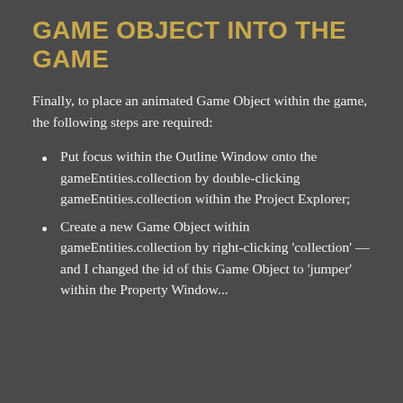GAME OBJECT INTO THE GAME
Finally, to place an animated Game Object within the game, the following steps are required:
Put focus within the Outline Window onto the gameEntities.collection by double-clicking gameEntities.collection within the Project Explorer;
Create a new Game Object within gameEntities.collection by right-clicking 'collection' — and I changed the id of this Game Object to 'jumper' within the Property Window...